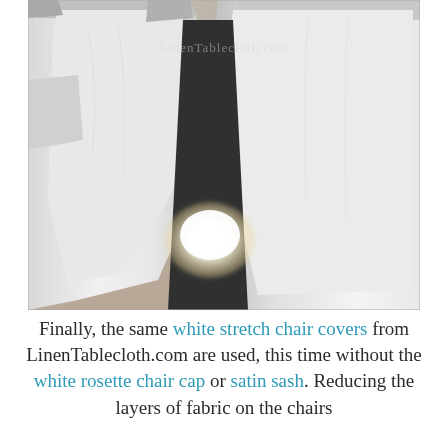[Figure (photo): Close-up photograph of white stretch chair covers on chairs, viewed from a low angle. The chairs appear to be covered with bright white fabric, and there is a bright light reflection visible between the chairs on a neutral/beige carpet background. A faint watermark reads 'LinenTablecloth.com' in the upper portion of the image.]
Finally, the same white stretch chair covers from LinenTablecloth.com are used, this time without the white rosette chair cap or satin sash. Reducing the layers of fabric on the chairs